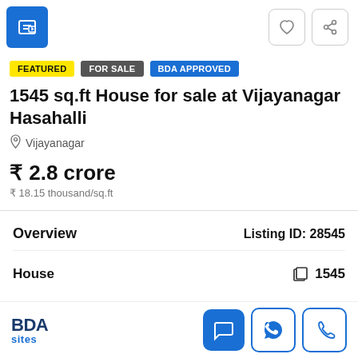[Figure (other): Blue icon box at top left and two outline icon boxes (heart, share) at top right]
FEATURED   FOR SALE   BDA APPROVED
1545 sq.ft House for sale at Vijayanagar Hasahalli
Vijayanagar
₹ 2.8 crore
₹ 18.15 thousand/sq.ft
Overview
Listing ID: 28545
House   1545
[Figure (logo): BDA sites logo at bottom left]
[Figure (other): Action buttons: chat (blue filled), WhatsApp (outline), phone (outline)]